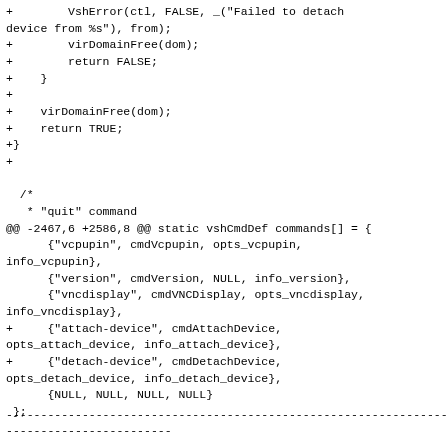+        VshError(ctl, FALSE, _("Failed to detach device from %s"), from);
+        virDomainFree(dom);
+        return FALSE;
+    }
+
+    virDomainFree(dom);
+    return TRUE;
+}
+
  /*
   * "quit" command
@@ -2467,6 +2586,8 @@ static vshCmdDef commands[] = {
      {"vcpupin", cmdVcpupin, opts_vcpupin, info_vcpupin},
      {"version", cmdVersion, NULL, info_version},
      {"vncdisplay", cmdVNCDisplay, opts_vncdisplay, info_vncdisplay},
+     {"attach-device", cmdAttachDevice, opts_attach_device, info_attach_device},
+     {"detach-device", cmdDetachDevice, opts_detach_device, info_detach_device},
      {NULL, NULL, NULL, NULL}
 };
------------------------------------------------------------------------
------------------------